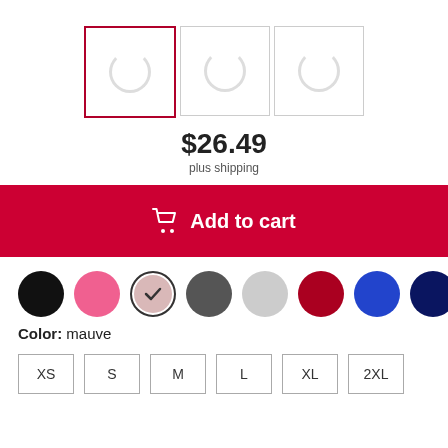[Figure (other): Three product image placeholders with loading spinners; first one has a red border indicating selection]
$26.49
plus shipping
Add to cart
Color: mauve
XS S M L XL 2XL